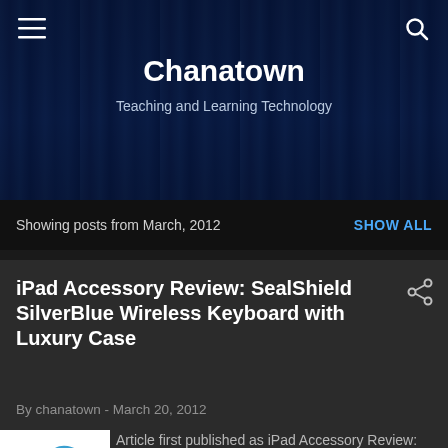[Figure (screenshot): Website header banner with dark blue curtain/forest background]
Chanatown
Teaching and Learning Technology
Showing posts from March, 2012   SHOW ALL
iPad Accessory Review: SealShield SilverBlue Wireless Keyboard with Luxury Case
By chanatown - March 20, 2012
[Figure (logo): SealShield logo: white and blue graphic with stylized shield/droplet shape and black letter mark]
Article first published as iPad Accessory Review: SealShield SilverBlue Wireless Keyboard with Luxury Case on Blogcritics. With the new iPad...